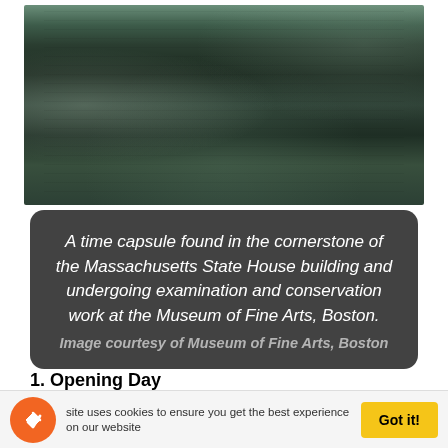[Figure (photo): A time capsule box/container, green-black patinated metal surface, shown horizontally against a white background.]
A time capsule found in the cornerstone of the Massachusetts State House building and undergoing examination and conservation work at the Museum of Fine Arts, Boston.
Image courtesy of Museum of Fine Arts, Boston
1. Opening Day
Today we will finally find out what exactly is inside the